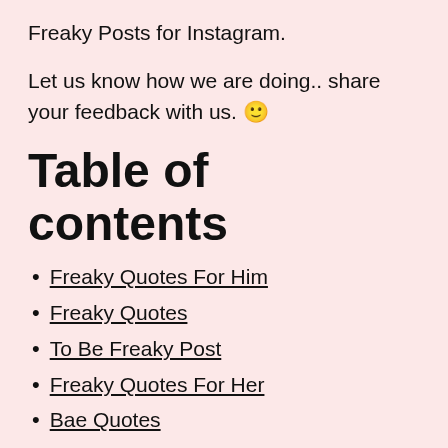Freaky Posts for Instagram.
Let us know how we are doing.. share your feedback with us. 🙂
Table of contents
Freaky Quotes For Him
Freaky Quotes
To Be Freaky Post
Freaky Quotes For Her
Bae Quotes
Freaky Instagram Quotes
Freaky Sayings
Nasty Freaky Quotes